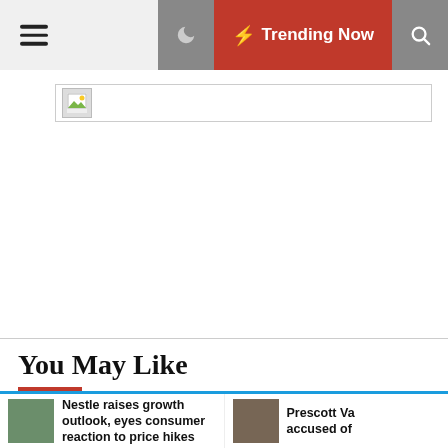Trending Now (navigation bar with hamburger menu, moon icon, trending now button, search icon)
[Figure (screenshot): Broken image / logo placeholder with green leaf icon inside a bordered box]
You May Like
Nestle raises growth outlook, eyes consumer reaction to price hikes
Prescott Va accused of